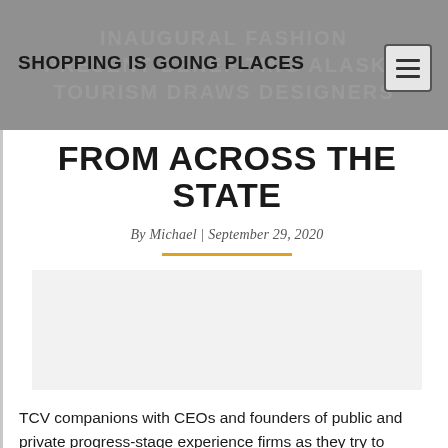SHOPPING IS GOING PLACES
FROM ACROSS THE STATE
By Michael | September 29, 2020
[Figure (photo): Placeholder image area, light gray]
TCV companions with CEOs and founders of public and private progress-stage experience firms as they try to understand market management. We